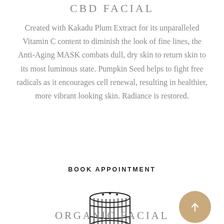CBD FACIAL
Created with Kakadu Plum Extract for its unparalleled Vitamin C content to diminish the look of fine lines, the Anti-Aging MASK combats dull, dry skin to return skin to its most luminous state. Pumpkin Seed helps to fight free radicals as it encourages cell renewal, resulting in healthier, more vibrant looking skin. Radiance is restored.
BOOK APPOINTMENT
[Figure (illustration): Line drawing icon of a round wooden barrel or tub viewed from the front, with vertical slats and horizontal bands, and small dots on top.]
[Figure (other): Gold/tan circle with an upward-pointing arrow, functioning as a scroll-to-top button.]
ORGANIC FACIAL